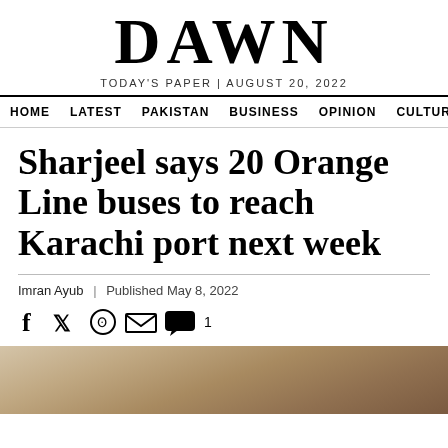DAWN
TODAY'S PAPER | AUGUST 20, 2022
HOME  LATEST  PAKISTAN  BUSINESS  OPINION  CULTURE
Sharjeel says 20 Orange Line buses to reach Karachi port next week
Imran Ayub | Published May 8, 2022
[Figure (photo): Partial photograph of a person, bottom portion of page]